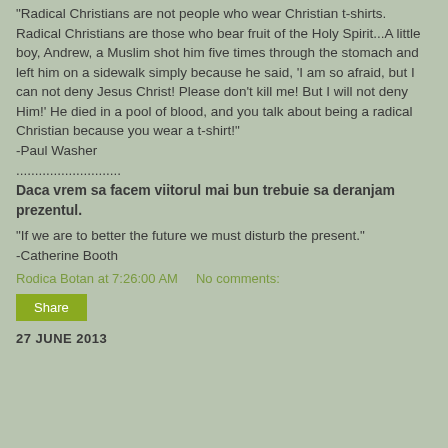"Radical Christians are not people who wear Christian t-shirts.
Radical Christians are those who bear fruit of the Holy Spirit...A little boy, Andrew, a Muslim shot him five times through the stomach and left him on a sidewalk simply because he said, 'I am so afraid, but I can not deny Jesus Christ! Please don't kill me! But I will not deny Him!' He died in a pool of blood, and you talk about being a radical Christian because you wear a t-shirt!"
-Paul Washer
............................
Daca vrem sa facem viitorul mai bun trebuie sa deranjam prezentul.
"If we are to better the future we must disturb the present."
-Catherine Booth
Rodica Botan at 7:26:00 AM    No comments:
Share
27 JUNE 2013